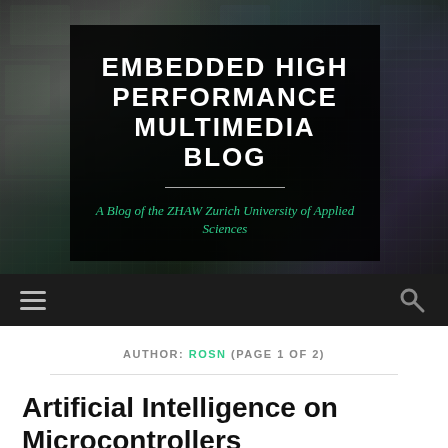[Figure (photo): Header photo of circuit boards and electronic components with a dark overlay, showing microcontrollers and embedded hardware in the background]
EMBEDDED HIGH PERFORMANCE MULTIMEDIA BLOG
A Blog of the ZHAW Zurich University of Applied Sciences
AUTHOR: ROSN (PAGE 1 OF 2)
Artificial Intelligence on Microcontrollers